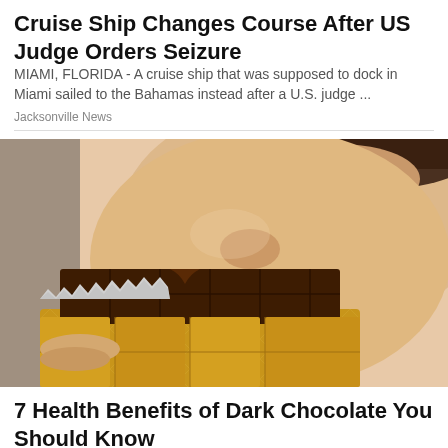Cruise Ship Changes Course After US Judge Orders Seizure
MIAMI, FLORIDA -  A cruise ship that was supposed to dock in Miami sailed to the Bahamas instead after a U.S. judge ...
Jacksonville News
[Figure (photo): Close-up photo of a woman with red lipstick smiling and biting into a large chocolate bar wrapped in gold foil]
7 Health Benefits of Dark Chocolate You Should Know